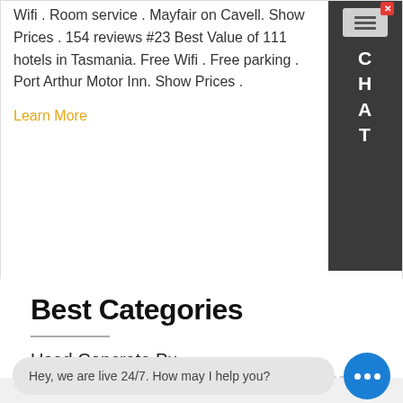Wifi . Room service . Mayfair on Cavell. Show Prices . 154 reviews #23 Best Value of 111 hotels in Tasmania. Free Wifi . Free parking . Port Arthur Motor Inn. Show Prices .
Learn More
[Figure (screenshot): Chat widget on right side with close button, hamburger menu icon, and vertical CHAT text letters]
Best Categories
Used Concrete Pu...
[Figure (screenshot): Live chat bubble overlay at bottom: gray speech bubble saying 'Hey, we are live 24/7. How may I help you?' with blue circular button with three dots]